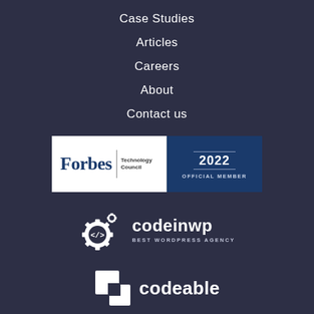Case Studies
Articles
Careers
About
Contact us
[Figure (logo): Forbes Technology Council 2022 Official Member badge]
[Figure (logo): CodeinWP Best WordPress Agency badge with gear icon]
[Figure (logo): Codeable logo with two overlapping squares]